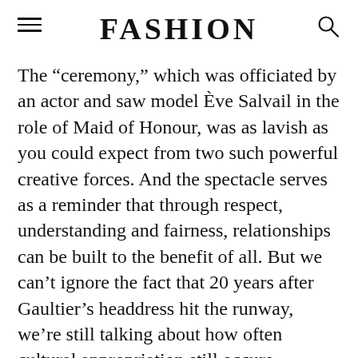FASHION
The “ceremony,” which was officiated by an actor and saw model Ève Salvail in the role of Maid of Honour, was as lavish as you could expect from two such powerful creative forces. And the spectacle serves as a reminder that through respect, understanding and fairness, relationships can be built to the benefit of all. But we can’t ignore the fact that 20 years after Gaultier’s headdress hit the runway, we’re still talking about how often cultural appropriation still occurs.